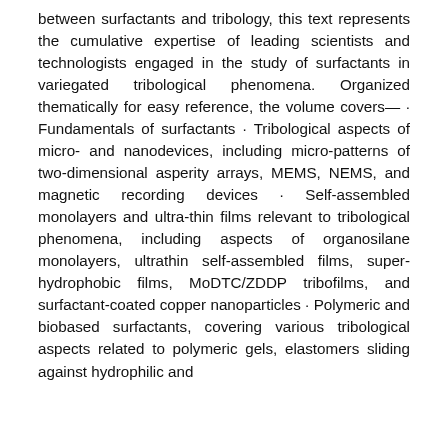between surfactants and tribology, this text represents the cumulative expertise of leading scientists and technologists engaged in the study of surfactants in variegated tribological phenomena. Organized thematically for easy reference, the volume covers— · Fundamentals of surfactants · Tribological aspects of micro- and nanodevices, including micro-patterns of two-dimensional asperity arrays, MEMS, NEMS, and magnetic recording devices · Self-assembled monolayers and ultra-thin films relevant to tribological phenomena, including aspects of organosilane monolayers, ultrathin self-assembled films, super-hydrophobic films, MoDTC/ZDDP tribofilms, and surfactant-coated copper nanoparticles · Polymeric and biobased surfactants, covering various tribological aspects related to polymeric gels, elastomers sliding against hydrophilic and